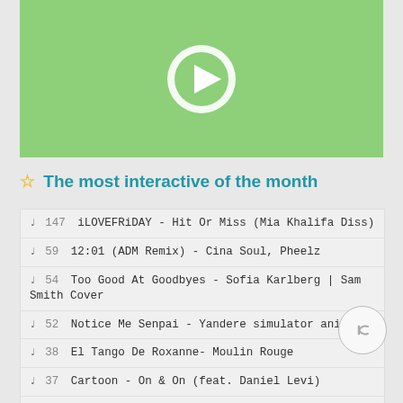[Figure (screenshot): Green video thumbnail with circular white play button in the center]
The most interactive of the month
♩ 147 iLOVEFRiDAY - Hit Or Miss (Mia Khalifa Diss)
♩ 59 12:01 (ADM Remix) - Cina Soul, Pheelz
♩ 54 Too Good At Goodbyes - Sofia Karlberg | Sam Smith Cover
♩ 52 Notice Me Senpai - Yandere simulator animated
♩ 38 El Tango De Roxanne- Moulin Rouge
♩ 37 Cartoon - On & On (feat. Daniel Levi)
♩ 36 My Valentine - Martina McBride
♩ 32 timmies - tell me why i'm waiting (ft. shiloh)
♩ 30 Annabelle's Homework - Alec Benjamin
♩ 31 Jack Stauber - Buttercup